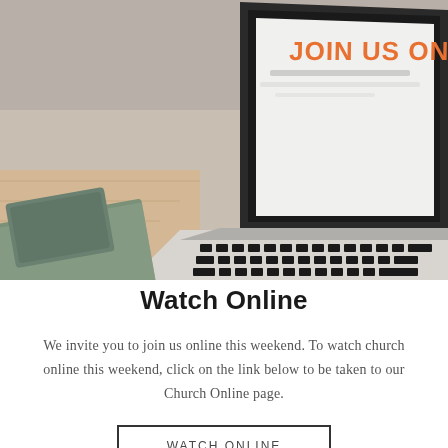[Figure (photo): Laptop computer on a desk showing a screen with orange text reading 'JOIN US ONLINE.' with a green book/phone beside it. Black keyboard visible.]
Watch Online
We invite you to join us online this weekend. To watch church online this weekend, click on the link below to be taken to our Church Online page.
WATCH ONLINE